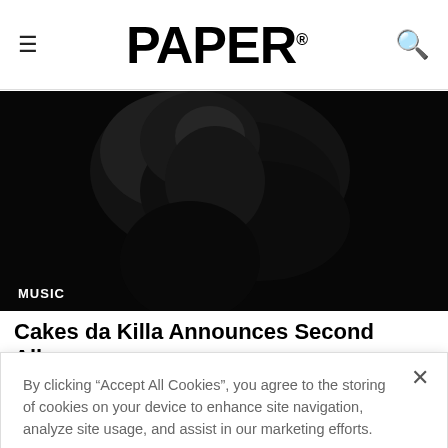PAPER
[Figure (photo): Black and white photograph of a person, partially visible, dark moody background]
MUSIC
Cakes da Killa Announces Second Album
By clicking “Accept All Cookies”, you agree to the storing of cookies on your device to enhance site navigation, analyze site usage, and assist in our marketing efforts.
Cookies Settings
Reject All
Accept All Cookies